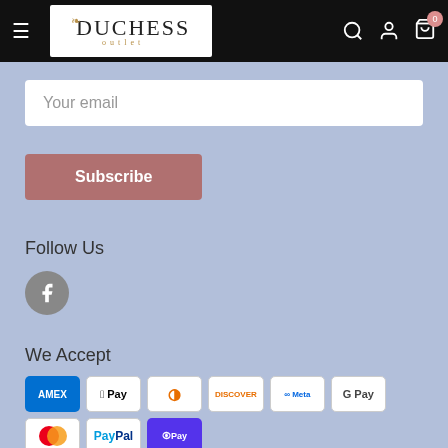[Figure (logo): Duchess Outlet logo with crown icon on black navigation bar]
Your email
Subscribe
Follow Us
[Figure (illustration): Facebook circular icon in gray]
We Accept
[Figure (infographic): Payment method icons: Amex, Apple Pay, Diners, Discover, Meta, Google Pay, Mastercard, PayPal, Shop Pay, Venmo, Visa]
© 2022 Duchess Outlet